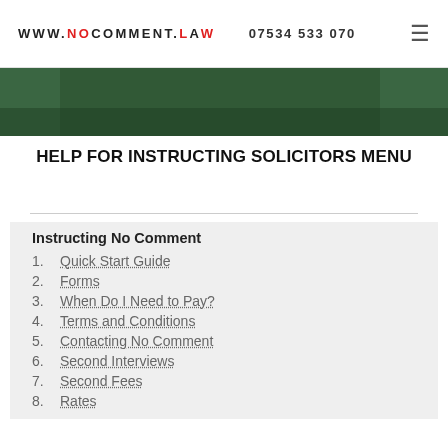WWW.NOCOMMENT.LAW  07534 533 070
[Figure (photo): Dark green background image, partial view at top of content area]
HELP FOR INSTRUCTING SOLICITORS MENU
Instructing No Comment
1. Quick Start Guide
2. Forms
3. When Do I Need to Pay?
4. Terms and Conditions
5. Contacting No Comment
6. Second Interviews
7. Second Fees
8. Rates